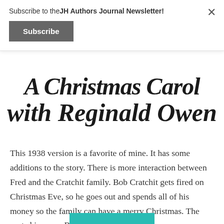Subscribe to the JH Authors Journal Newsletter!
Subscribe
A Christmas Carol with Reginald Owen
This 1938 version is a favorite of mine. It has some additions to the story. There is more interaction between Fred and the Cratchit family. Bob Cratchit gets fired on Christmas Eve, so he goes out and spends all of his money so the family can have a merry Christmas. The past skips over Belle,...
[Figure (other): Teal/turquoise button partially visible at bottom of page]